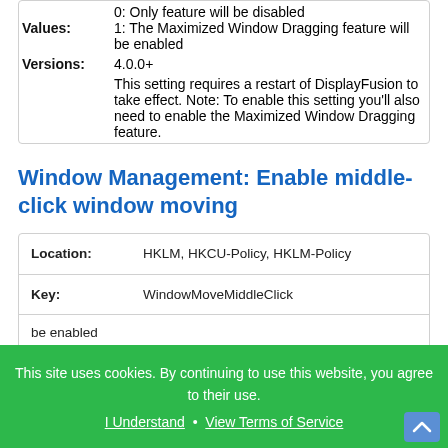| Values: | 0: Only feature will be disabled
1: The Maximized Window Dragging feature will be enabled |
| Versions: | 4.0.0+ |
|  | This setting requires a restart of DisplayFusion to take effect. Note: To enable this setting you'll also need to enable the Maximized Window Dragging feature. |
Window Management: Enable middle-click window moving
| Location: | HKLM, HKCU-Policy, HKLM-Policy |
| Key: | WindowMoveMiddleClick |
This site uses cookies. By continuing to use this website, you agree to their use. I Understand • View Terms of Service
be enabled